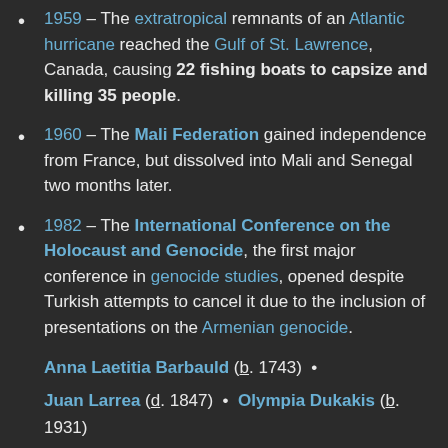1959 – The extratropical remnants of an Atlantic hurricane reached the Gulf of St. Lawrence, Canada, causing 22 fishing boats to capsize and killing 35 people.
1960 – The Mali Federation gained independence from France, but dissolved into Mali and Senegal two months later.
1982 – The International Conference on the Holocaust and Genocide, the first major conference in genocide studies, opened despite Turkish attempts to cancel it due to the inclusion of presentations on the Armenian genocide.
Anna Laetitia Barbauld (b. 1743) •
Juan Larrea (d. 1847) • Olympia Dukakis (b. 1931)
More anniversaries: